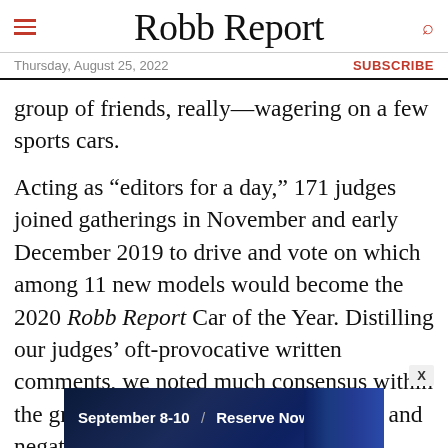Robb Report
Thursday, August 25, 2022  SUBSCRIBE
group of friends, really—wagering on a few sports cars.
Acting as “editors for a day,” 171 judges joined gatherings in November and early December 2019 to drive and vote on which among 11 new models would become the 2020 Robb Report Car of the Year. Distilling our judges’ oft-provocative written comments, we noted much consensus within the groups when it came to the positive and negative attributes of each contender.
[Figure (other): Advertisement banner: September 8-10 / Reserve Now with arrow button, dark blue background with city skyline imagery]